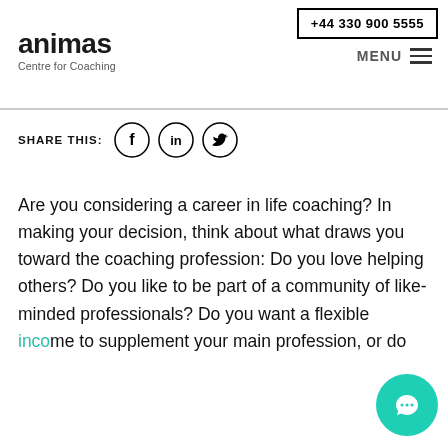+44 330 900 5555
[Figure (logo): Animas Centre for Coaching logo: bold lowercase 'animas' with subtitle 'Centre for Coaching']
MENU
SHARE THIS:
[Figure (illustration): Social media share icons: Facebook (f), LinkedIn (in), Twitter (bird) — each in a circle]
Are you considering a career in life coaching? In making your decision, think about what draws you toward the coaching profession: Do you love helping others? Do you like to be part of a community of like-minded professionals? Do you want a flexible income to supplement your main profession, or do